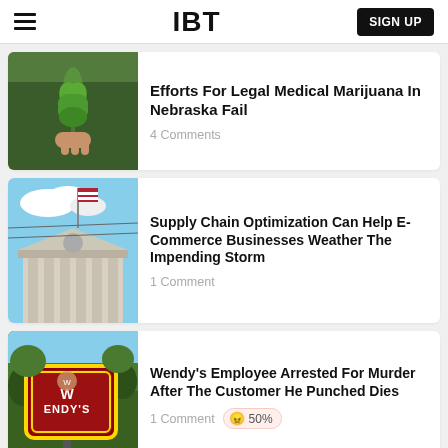IBT
[Figure (photo): Person holding a cannabis marijuana leaf]
Efforts For Legal Medical Marijuana In Nebraska Fail
4 Comments
[Figure (photo): Federal Reserve building with flag]
Supply Chain Optimization Can Help E-Commerce Businesses Weather The Impending Storm
1 Comment
[Figure (photo): Wendy's restaurant sign]
Wendy's Employee Arrested For Murder After The Customer He Punched Dies
1 Comment 50%